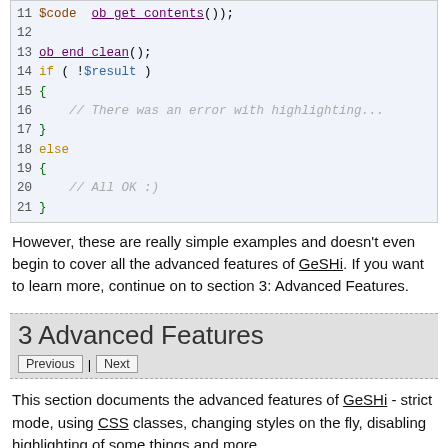[Figure (screenshot): Code block showing PHP lines 11-21 with syntax highlighting: ob_end_clean(), if(!$result) with error comment, else block with All OK comment]
However, these are really simple examples and doesn't even begin to cover all the advanced features of GeSHi. If you want to learn more, continue on to section 3: Advanced Features.
3 Advanced Features
Previous | Next
This section documents the advanced features of GeSHi - strict mode, using CSS classes, changing styles on the fly, disabling highlighting of some things and more.
In this section there are many code snippets. For all of these, you should assume that the GeSHi library has been